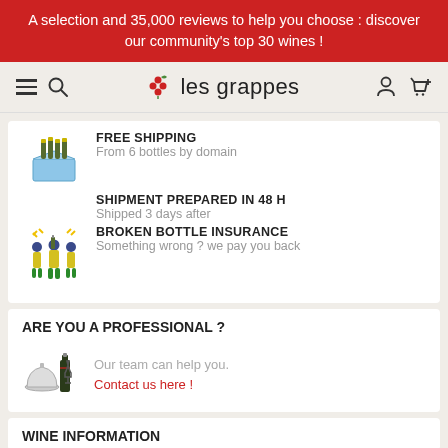A selection and 35,000 reviews to help you choose : discover our community's top 30 wines !
[Figure (logo): les grappes wine website logo with grape cluster icon]
[Figure (illustration): Box of wine bottles icon for free shipping]
FREE SHIPPING
From 6 bottles by domain
SHIPMENT PREPARED IN 48 H
Shipped 3 days after
[Figure (illustration): People celebrating with wine bottles icon for broken bottle insurance]
BROKEN BOTTLE INSURANCE
Something wrong ? we pay you back
ARE YOU A PROFESSIONAL ?
[Figure (illustration): Wine bottle and serving bell icon for professional section]
Our team can help you.
Contact us here !
WINE INFORMATION